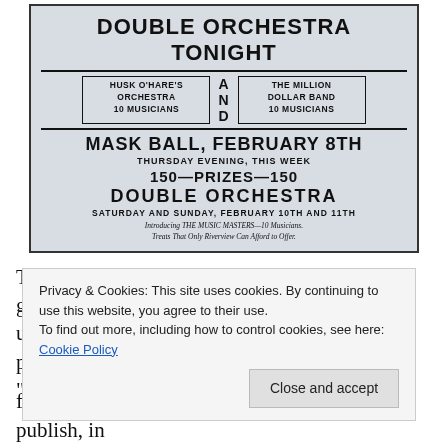[Figure (photo): Vintage newspaper advertisement for 'Double Orchestra Tonight' at Riverview featuring Husk O'Hare's Orchestra (10 musicians) and The Million Dollar Band (10 musicians), advertising a Mask Ball on February 8th (Thursday Evening, This Week), 150 Prizes, Double Orchestra Saturday and Sunday February 10th and 11th, introducing The Music Masters—10 Musicians, Treats That Only Riverview Can Afford to Offer.]
Transitional period, stylistic amalgam, generational signifier, offshoot of ragtime, jazz unlike any before or since and expression of peacetime ecstasy: labels are never airtight but “rag-a-jazz” has come to encompass all
Privacy & Cookies: This site uses cookies. By continuing to use this website, you agree to their use.
To find out more, including how to control cookies, see here: Cookie Policy
founded in 1955 and continued to edit and publish, in